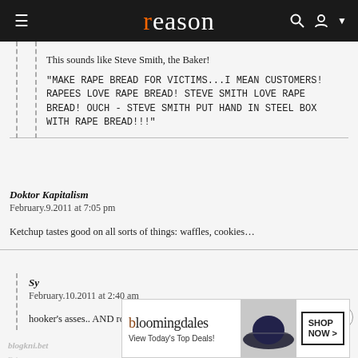reason
This sounds like Steve Smith, the Baker!
"MAKE RAPE BREAD FOR VICTIMS...I MEAN CUSTOMERS! RAPEES LOVE RAPE BREAD! STEVE SMITH LOVE RAPE BREAD! OUCH - STEVE SMITH PUT HAND IN STEEL BOX WITH RAPE BREAD!!!"
Doktor Kapitalism
February.9.2011 at 7:05 pm
Ketchup tastes good on all sorts of things: waffles, cookies...
Sy
February.10.2011 at 2:40 am
hooker's asses.. AND roads.
blogkni.bet
February...
[Figure (screenshot): Bloomingdale's advertisement banner: 'bloomingdales - View Today's Top Deals! SHOP NOW >']